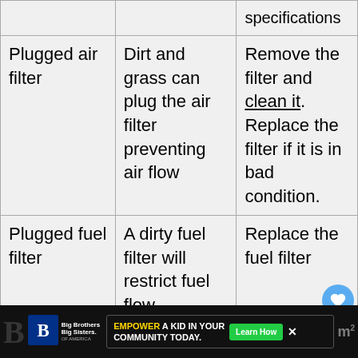|  |  | specifications |
| --- | --- | --- |
| Plugged air filter | Dirt and grass can plug the air filter preventing air flow | Remove the filter and clean it. Replace the filter if it is in bad condition. |
| Plugged fuel filter | A dirty fuel filter will restrict fuel flow | Replace the fuel filter |
[Figure (screenshot): UI overlay showing heart button with count 13, share button, What's Next promo for '16 Reasons Your Toro...', and an advertisement bar at bottom for Big Brothers Big Sisters with 'EMPOWER A KID IN YOUR COMMUNITY TODAY' banner and Learn How button]